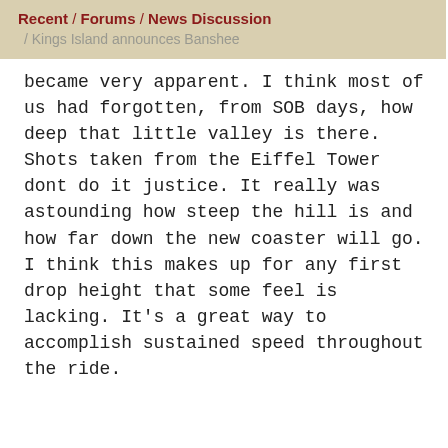Recent / Forums / News Discussion / Kings Island announces Banshee
became very apparent. I think most of us had forgotten, from SOB days, how deep that little valley is there. Shots taken from the Eiffel Tower dont do it justice. It really was astounding how steep the hill is and how far down the new coaster will go. I think this makes up for any first drop height that some feel is lacking. It's a great way to accomplish sustained speed throughout the ride.